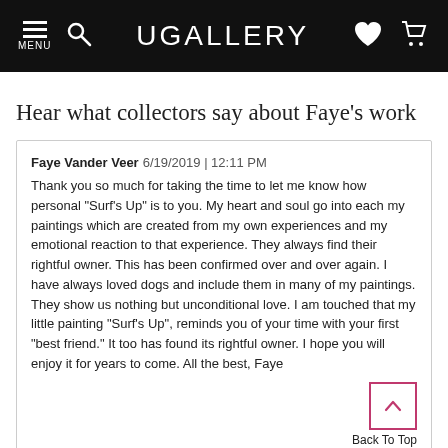UGALLERY
Hear what collectors say about Faye's work
Faye Vander Veer 6/19/2019 | 12:11 PM
Thank you so much for taking the time to let me know how personal "Surf's Up" is to you. My heart and soul go into each my paintings which are created from my own experiences and my emotional reaction to that experience. They always find their rightful owner. This has been confirmed over and over again. I have always loved dogs and include them in many of my paintings. They show us nothing but unconditional love. I am touched that my little painting "Surf's Up", reminds you of your time with your first "best friend." It too has found its rightful owner. I hope you will enjoy it for years to come. All the best, Faye
Back To Top
M Fogg style="color: #000000;"6/18/2019 | 8:54 AM
I can't tell you how much I love "Surf's Up". Every day it makes mo